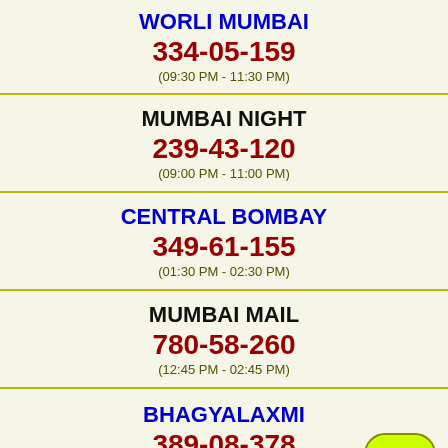WORLI MUMBAI
334-05-159
(09:30 PM - 11:30 PM)
MUMBAI NIGHT
239-43-120
(09:00 PM - 11:00 PM)
CENTRAL BOMBAY
349-61-155
(01:30 PM - 02:30 PM)
MUMBAI MAIL
780-58-260
(12:45 PM - 02:45 PM)
BHAGYALAXMI
389-08-378
(11:45 AM - 12:44 PM)